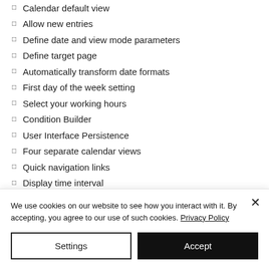Calendar default view
Allow new entries
Define date and view mode parameters
Define target page
Automatically transform date formats
First day of the week setting
Select your working hours
Condition Builder
User Interface Persistence
Four separate calendar views
Quick navigation links
Display time interval
Display overlapping events
Show entry detail on mouse over
Highlight current date
We use cookies on our website to see how you interact with it. By accepting, you agree to our use of such cookies. Privacy Policy
Settings
Accept